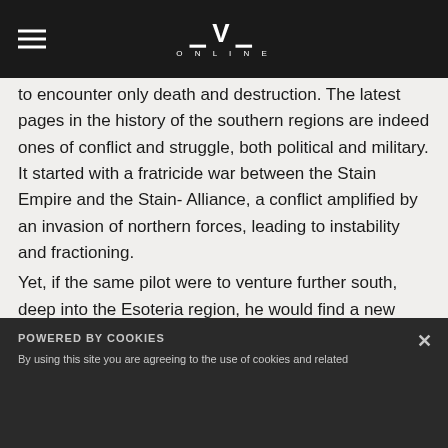EVE ONLINE
to encounter only death and destruction. The latest pages in the history of the southern regions are indeed ones of conflict and struggle, both political and military. It started with a fratricide war between the Stain Empire and the Stain- Alliance, a conflict amplified by an invasion of northern forces, leading to instability and fractioning.

Yet, if the same pilot were to venture further south, deep into the Esoteria region, he would find a new alliance striving to rebuild on the ashes of war, unimpeded by the still-raging battle between the Ascendant Frontier on the one hand and the G Alliance and its allies on the other. The Prime Orbital Systems alliance was founded by Oberon
POWERED BY COOKIES

By using this site you are agreeing to the use of cookies and related